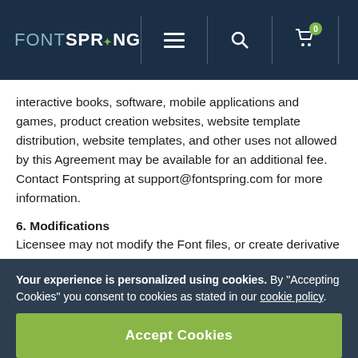FONTSPRING
interactive books, software, mobile applications and games, product creation websites, website template distribution, website templates, and other uses not allowed by this Agreement may be available for an additional fee. Contact Fontspring at support@fontspring.com for more information.
6. Modifications
Licensee may not modify the Font files, or create derivative fonts based on the Font without prior written consent from Fontspring or the owning Foundry EXCEPT THAT Licensee may generate files necessary for
Your experience is personalized using cookies. By "Accepting Cookies" you consent to cookies as stated in our cookie policy.
Accept Cookies